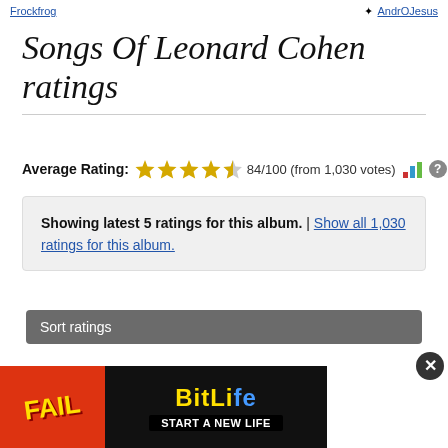Frockfrog   AndrOJesus
Songs Of Leonard Cohen ratings
Average Rating: 84/100 (from 1,030 votes)
Showing latest 5 ratings for this album. | Show all 1,030 ratings for this album.
Sort ratings
[Figure (screenshot): BitLife advertisement banner with FAIL text and START A NEW LIFE tagline]